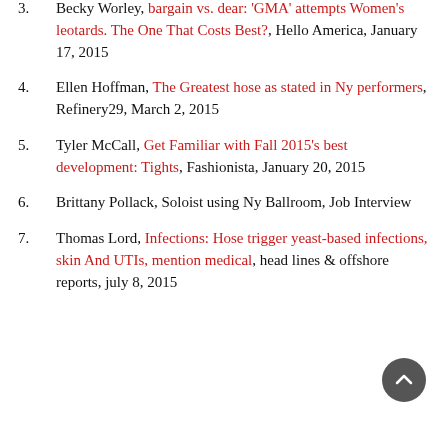3. Becky Worley, bargain vs. dear: 'GMA' attempts Women's leotards. The One That Costs Best?, Hello America, January 17, 2015
4. Ellen Hoffman, The Greatest hose as stated in Ny performers, Refinery29, March 2, 2015
5. Tyler McCall, Get Familiar with Fall 2015's best development: Tights, Fashionista, January 20, 2015
6. Brittany Pollack, Soloist using Ny Ballroom, Job Interview
7. Thomas Lord, Infections: Hose trigger yeast-based infections, skin And UTIs, mention medical, head lines & offshore reports, july 8, 2015